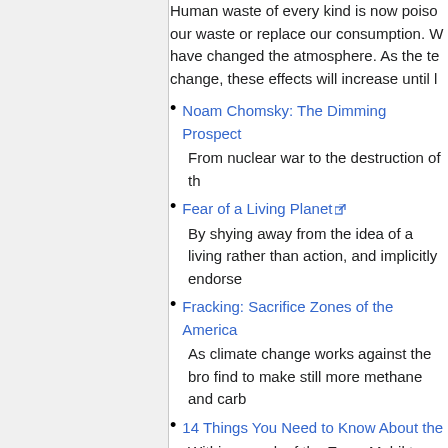Human waste of every kind is now poiso our waste or replace our consumption. W have changed the atmosphere. As the te change, these effects will increase until l
Noam Chomsky: The Dimming Prospect
From nuclear war to the destruction of th
Fear of a Living Planet
By shying away from the idea of a living rather than action, and implicitly endorse
Fracking: Sacrifice Zones of the America
As climate change works against the bro find to make still more methane and carb
14 Things You Need to Know About the
Within a week of the ExxonMobil tar san up, the U.S. government had establishe evacuation, ExxonMobil was threatening
The True Cost of Coal (Beehive Collec
After two years of collaborative research